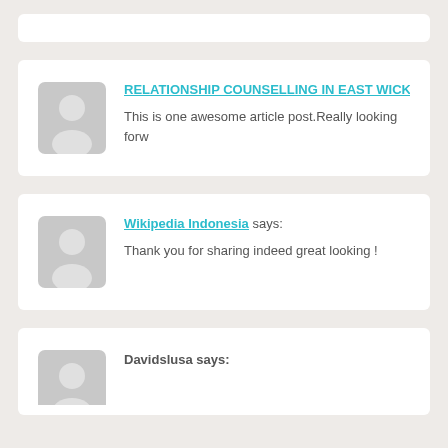RELATIONSHIP COUNSELLING IN EAST WICKHA
This is one awesome article post.Really looking forw
Wikipedia Indonesia says:
Thank you for sharing indeed great looking !
Davidslusa says: